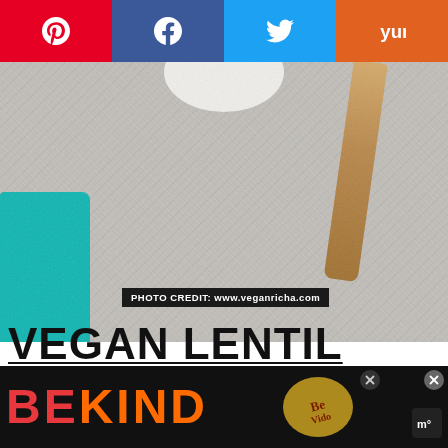[Figure (screenshot): Social media share bar with Pinterest (red), Facebook (dark blue), Twitter (light blue), Yummly (orange) buttons at top]
[Figure (photo): Overhead photo of a bowl on a gray stone/concrete surface with a teal cloth and wooden chopstick visible]
PHOTO CREDIT: www.veganricha.com
VEGAN LENTIL MUSHROOM STEW WITH MASHED SWEET POTATOES - INSTANT POT OR
[Figure (infographic): 450 likes counter with heart icon and pink search button on right side]
[Figure (infographic): Advertisement bar at bottom with 'BE KIND' text and decorative logo]